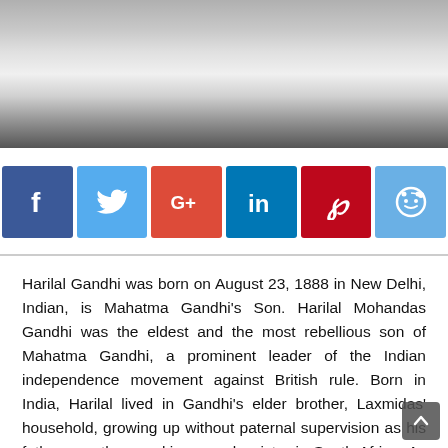[Figure (photo): Black and white photograph of Harilal Gandhi, cropped showing upper body and face]
[Figure (infographic): Social media share buttons: Facebook (blue), Twitter (light blue), Google+ (red-orange), LinkedIn (blue), Pinterest (dark red), Reddit (light blue)]
Harilal Gandhi was born on August 23, 1888 in New Delhi, Indian, is Mahatma Gandhi's Son. Harilal Mohandas Gandhi was the eldest and the most rebellious son of Mahatma Gandhi, a prominent leader of the Indian independence movement against British rule. Born in India, Harilal lived in Gandhi's elder brother, Laxmidas' household, growing up without paternal supervision as his father was then working as a barrister in South Africa. As was alarmingly common among the young Indian men of affluent families of that age, he took concubines and developed an addiction to alcohol. Gandhi then asked him to come to South Africa to join him in his struggles at the Phoenix Ashram. Harilal could not adapt to the simple austere lifestyle that Gandhi had imposed on